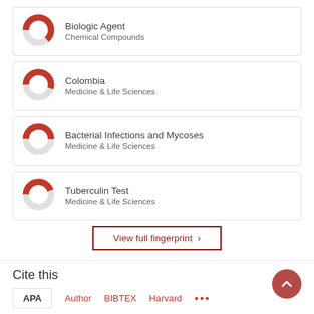[Figure (donut-chart): Donut chart showing Biologic Agent - Chemical Compounds, approximately 65% filled]
Biologic Agent
Chemical Compounds
[Figure (donut-chart): Donut chart showing Colombia - Medicine & Life Sciences, approximately 55% filled]
Colombia
Medicine & Life Sciences
[Figure (donut-chart): Donut chart showing Bacterial Infections and Mycoses - Medicine & Life Sciences, approximately 50% filled]
Bacterial Infections and Mycoses
Medicine & Life Sciences
[Figure (donut-chart): Donut chart showing Tuberculin Test - Medicine & Life Sciences, approximately 45% filled]
Tuberculin Test
Medicine & Life Sciences
View full fingerprint >
Cite this
APA  Author  BIBTEX  Harvard  ...